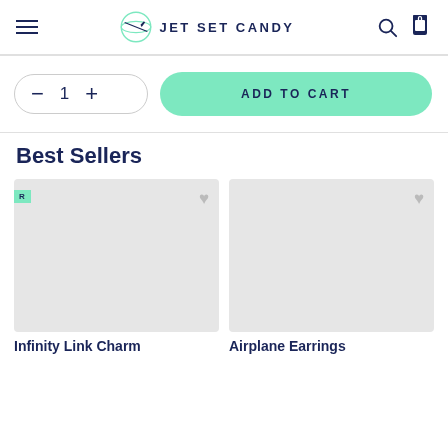JET SET CANDY
ADD TO CART
Best Sellers
[Figure (photo): Product image placeholder (grey box) for Infinity Link Charm with heart wishlist icon and badge label R]
Infinity Link Charm
[Figure (photo): Product image placeholder (grey box) for Airplane Earrings with heart wishlist icon]
Airplane Earrings